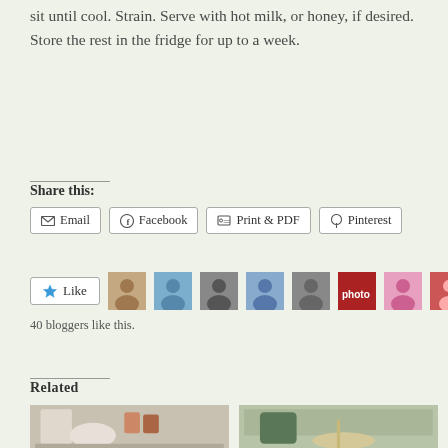sit until cool. Strain. Serve with hot milk, or honey, if desired. Store the rest in the fridge for up to a week.
Share this:
Email | Facebook | Print & PDF | Pinterest
[Figure (photo): Like button with star icon and a row of blogger avatar photos]
40 bloggers like this.
Related
[Figure (photo): Photo of coffee cup with condiments on a white table]
[Figure (photo): Photo of a mug of coffee and a pastry with a straw on a wooden table outdoors]